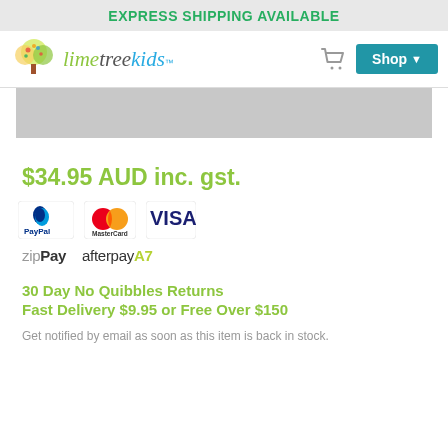EXPRESS SHIPPING AVAILABLE
[Figure (logo): Lime Tree Kids logo with tree icon and stylized text]
$34.95 AUD inc. gst.
[Figure (infographic): Payment method logos: PayPal, MasterCard, VISA, zipPay, afterpay]
30 Day No Quibbles Returns
Fast Delivery $9.95 or Free Over $150
Get notified by email as soon as this item is back in stock.